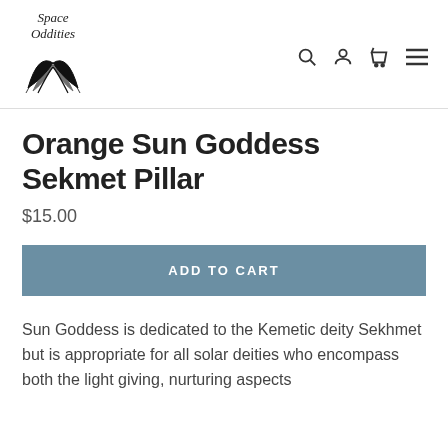Space Oddities
Orange Sun Goddess Sekmet Pillar
$15.00
ADD TO CART
Sun Goddess is dedicated to the Kemetic deity Sekhmet but is appropriate for all solar deities who encompass both the light giving, nurturing aspects